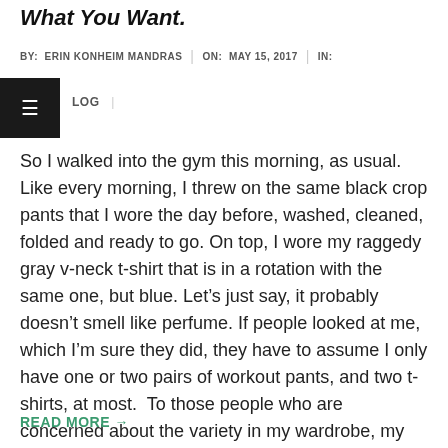What You Want.
BY: ERIN KONHEIM MANDRAS | ON: MAY 15, 2017 | IN:
LOG |
So I walked into the gym this morning, as usual. Like every morning, I threw on the same black crop pants that I wore the day before, washed, cleaned, folded and ready to go. On top, I wore my raggedy gray v-neck t-shirt that is in a rotation with the same one, but blue. Let’s just say, it probably doesn’t smell like perfume. If people looked at me, which I’m sure they did, they have to assume I only have one or two pairs of workout pants, and two t-shirts, at most.  To those people who are concerned about the variety in my wardrobe, my husband
READ MORE →